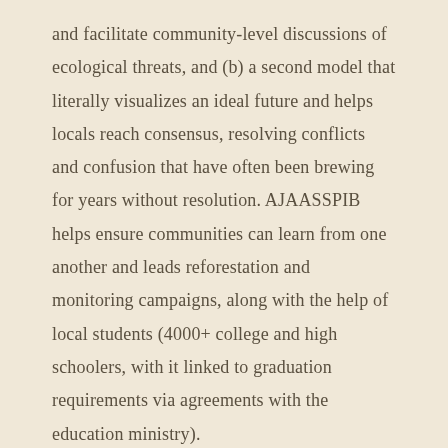and facilitate community-level discussions of ecological threats, and (b) a second model that literally visualizes an ideal future and helps locals reach consensus, resolving conflicts and confusion that have often been brewing for years without resolution. AJAASSPIB helps ensure communities can learn from one another and leads reforestation and monitoring campaigns, along with the help of local students (4000+ college and high schoolers, with it linked to graduation requirements via agreements with the education ministry).
Water committees collect funds for water system maintenance but are careful to maintain separation